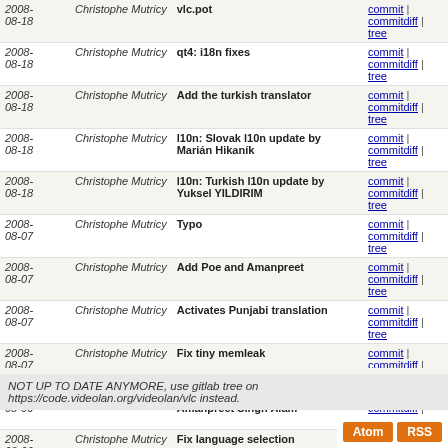| Date | Author | Message | Links |
| --- | --- | --- | --- |
| 2008-08-18 | Christophe Mutricy | vlc.pot | commit | commitdiff | tree |
| 2008-08-18 | Christophe Mutricy | qt4: i18n fixes | commit | commitdiff | tree |
| 2008-08-18 | Christophe Mutricy | Add the turkish translator | commit | commitdiff | tree |
| 2008-08-18 | Christophe Mutricy | l10n: Slovak l10n update by Marián Hikaník | commit | commitdiff | tree |
| 2008-08-18 | Christophe Mutricy | l10n: Turkish l10n update by Yuksel YILDIRIM | commit | commitdiff | tree |
| 2008-08-07 | Christophe Mutricy | Typo | commit | commitdiff | tree |
| 2008-08-07 | Christophe Mutricy | Add Poe and Amanpreet | commit | commitdiff | tree |
| 2008-08-07 | Christophe Mutricy | Activates Punjabi translation | commit | commitdiff | tree |
| 2008-08-07 | Christophe Mutricy | Fix tiny memleak | commit | commitdiff | tree |
| 2008-08-06 | Christophe Mutricy | Punjabi translation update by Amanpreet Singh Alam | commit | commitdiff | tree |
| 2008-08-06 | Christophe Mutricy | Fix language selection | commit | commitdiff | tree |
next
NOT UP TO DATE ANYMORE, use gitlab tree on https://code.videolan.org/videolan/vlc instead.